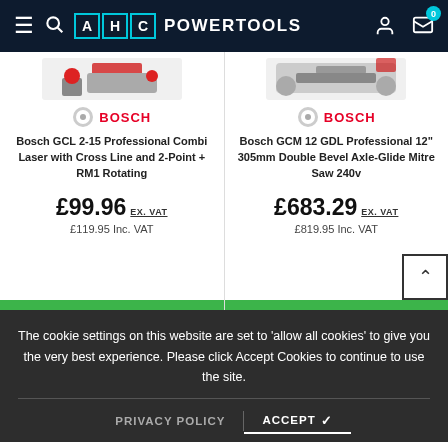AHC POWERTOOLS
[Figure (screenshot): Product listing showing two Bosch tools with prices]
Bosch GCL 2-15 Professional Combi Laser with Cross Line and 2-Point + RM1 Rotating
£99.96 EX. VAT £119.95 Inc. VAT
Bosch GCM 12 GDL Professional 12" 305mm Double Bevel Axle-Glide Mitre Saw 240v
£683.29 EX. VAT £819.95 Inc. VAT
The cookie settings on this website are set to 'allow all cookies' to give you the very best experience. Please click Accept Cookies to continue to use the site.
PRIVACY POLICY | ACCEPT ✓